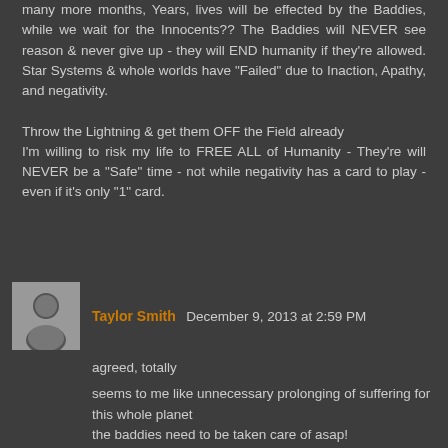many more months, Years, lives will be effected by the Baddies, while we wait for the Innocents?? The Baddies will NEVER see reason & never give up - they will END humanity if they're allowed. Star Systems & whole worlds have "Failed" due to Inaction, Apathy, and negativity.

Throw the Lightning & get them OFF the Field already
I'm willing to risk my life to FREE ALL of Humanity - They're will NEVER be a "Safe" time - not while negativity has a card to play - even if it's only "1" card.
[Figure (photo): Avatar photo of Taylor Smith, a person shown from shoulders up]
Taylor Smith  December 9, 2013 at 2:59 PM
agreed, totally

seems to me like unnecessary prolonging of suffering for this whole planet
the baddies need to be taken care of asap!